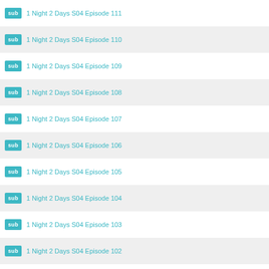sub  1 Night 2 Days S04 Episode 111
sub  1 Night 2 Days S04 Episode 110
sub  1 Night 2 Days S04 Episode 109
sub  1 Night 2 Days S04 Episode 108
sub  1 Night 2 Days S04 Episode 107
sub  1 Night 2 Days S04 Episode 106
sub  1 Night 2 Days S04 Episode 105
sub  1 Night 2 Days S04 Episode 104
sub  1 Night 2 Days S04 Episode 103
sub  1 Night 2 Days S04 Episode 102
sub  1 Night 2 Days S04 Episode 101
sub  1 Night 2 Days S04 Episode 100
sub  1 Night 2 Days S04 Episode 99